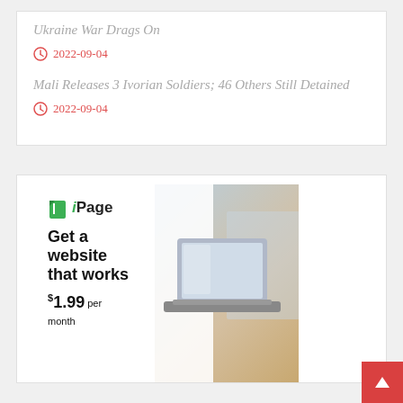Ukraine War Drags On
2022-09-04
Mali Releases 3 Ivorian Soldiers; 46 Others Still Detained
2022-09-04
[Figure (infographic): iPage advertisement: Get a website that works $1.99 per month, with image of a laptop and home office background]